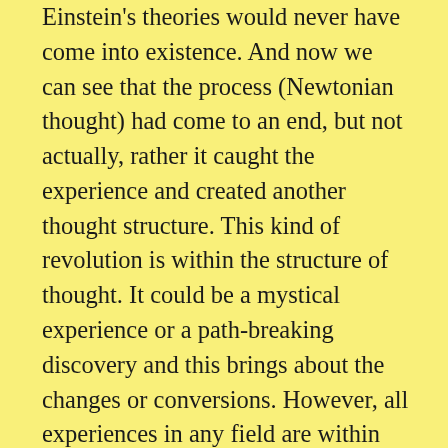Einstein's theories would never have come into existence. And now we can see that the process (Newtonian thought) had come to an end, but not actually, rather it caught the experience and created another thought structure. This kind of revolution is within the structure of thought. It could be a mystical experience or a path-breaking discovery and this brings about the changes or conversions. However, all experiences in any field are within the field of thought. A mystical experience can change the individual consciousness. The whole way of looking at life changes and it'll be like wearing new glasses. Everything you look at, every activity is different, but still within the field of thought. Even bringing the mind to a quiet state is not the end of the mind. That could, at